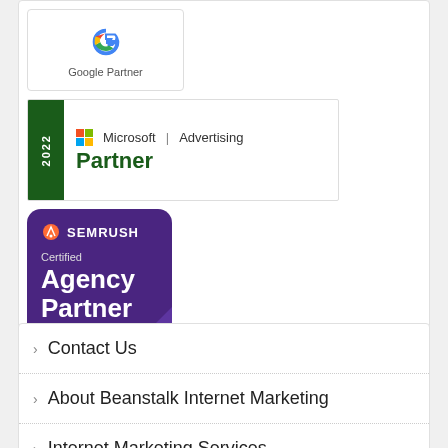[Figure (logo): Google Partner badge with Google logo and text 'Google Partner']
[Figure (logo): Microsoft Advertising 2022 Partner badge with Microsoft logo]
[Figure (logo): SEMrush Certified Agency Partner purple badge]
Contact Us
About Beanstalk Internet Marketing
Internet Marketing Services